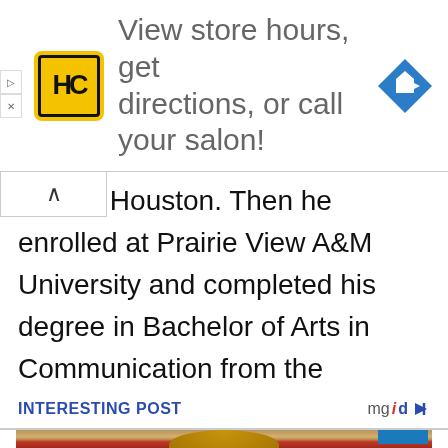[Figure (other): Advertisement banner with HC salon logo, text 'View store hours, get directions, or call your salon!' and a blue navigation arrow icon]
ated in Houston. Then he enrolled at Prairie View A&M University and completed his degree in Bachelor of Arts in Communication from the University.
INTERESTING POST
[Figure (photo): Photo of a man with medium-length blonde hair wearing a red jacket, with a surprised or startled expression, indoors with framed pictures on wall in background]